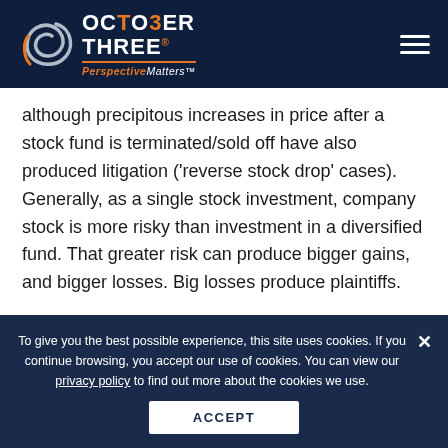OCTOBER THREE® PerspectiveMatters™
although precipitous increases in price after a stock fund is terminated/sold off have also produced litigation ('reverse stock drop' cases). Generally, as a single stock investment, company stock is more risky than investment in a diversified fund. That greater risk can produce bigger gains, and bigger losses. Big losses produce plaintiffs.
With respect to publicly traded company stock, post-Fifth Third, plan fiduciaries should generally monitor for 'special
To give you the best possible experience, this site uses cookies. If you continue browsing, you accept our use of cookies. You can view our privacy policy to find out more about the cookies we use.
ACCEPT